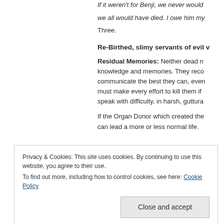If it weren't for Benji, we never would… we all would have died. I owe him my… Three.
Re-Birthed, slimy servants of evil v
Residual Memories: Neither dead n… knowledge and memories. They reco… communicate the best they can, even… must make every effort to kill them if… speak with difficulty, in harsh, guttura…
If the Organ Donor which created the… can lead a more or less normal life.
Privacy & Cookies: This site uses cookies. By continuing to use this website, you agree to their use.
To find out more, including how to control cookies, see here: Cookie Policy
Close and accept